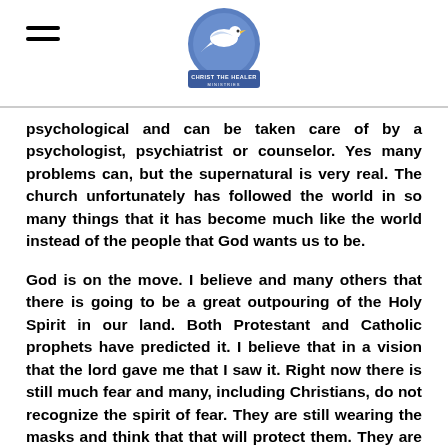Christ The Healer Ministries logo and navigation
psychological and can be taken care of by a psychologist, psychiatrist or counselor. Yes many problems can, but the supernatural is very real. The church unfortunately has followed the world in so many things that it has become much like the world instead of the people that God wants us to be.
God is on the move. I believe and many others that there is going to be a great outpouring of the Holy Spirit in our land. Both Protestant and Catholic prophets have predicted it. I believe that in a vision that the lord gave me that I saw it. Right now there is still much fear and many, including Christians, do not recognize the spirit of fear. They are still wearing the masks and think that that will protect them. They are getting the jab thinking that will protect them. It is a